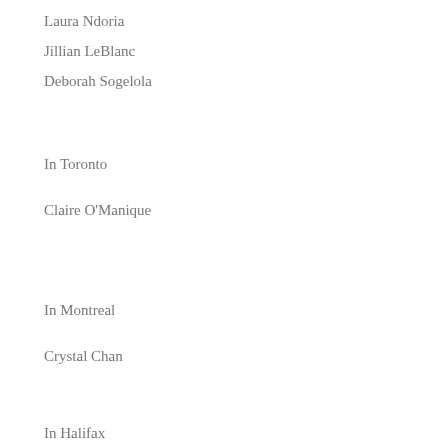Laura Ndoria
Jillian LeBlanc
Deborah Sogelola
In Toronto
Claire O'Manique
In Montreal
Crystal Chan
In Halifax